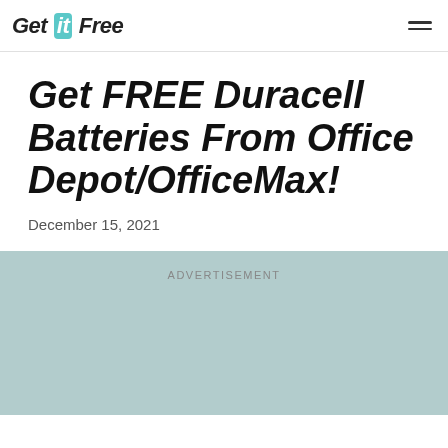Get it Free
Get FREE Duracell Batteries From Office Depot/OfficeMax!
December 15, 2021
[Figure (other): Advertisement placeholder box with light teal background and 'ADVERTISEMENT' label text]